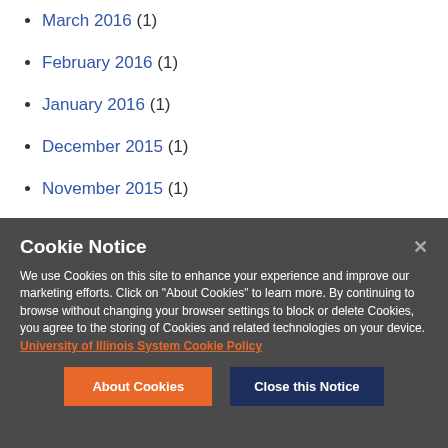March 2016 (1)
February 2016 (1)
January 2016 (1)
December 2015 (1)
November 2015 (1)
October 2015 (1)
September 2015 (1)
Cookie Notice
We use Cookies on this site to enhance your experience and improve our marketing efforts. Click on "About Cookies" to learn more. By continuing to browse without changing your browser settings to block or delete Cookies, you agree to the storing of Cookies and related technologies on your device. University of Illinois System Cookie Policy